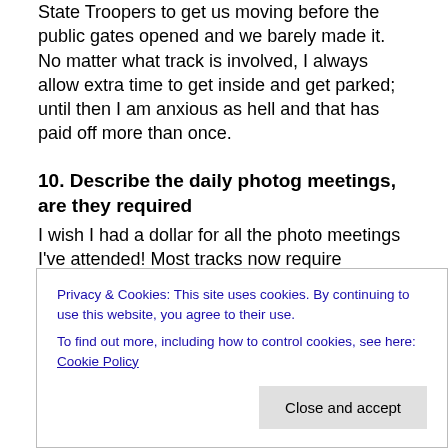State Troopers to get us moving before the public gates opened and we barely made it. No matter what track is involved, I always allow extra time to get inside and get parked; until then I am anxious as hell and that has paid off more than once.
10. Describe the daily photog meetings, are they required
I wish I had a dollar for all the photo meetings I've attended! Most tracks now require photographers to go through a safety briefing to get a photo vest that identifies us as media members, so usually someone from the
limits. There's also the threat of credential revocation if
Privacy & Cookies: This site uses cookies. By continuing to use this website, you agree to their use.
To find out more, including how to control cookies, see here: Cookie Policy